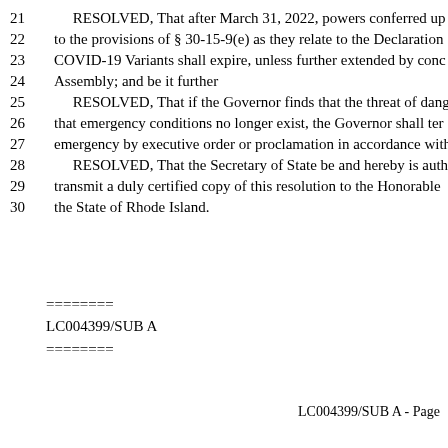21   RESOLVED, That after March 31, 2022, powers conferred up
22   to the provisions of § 30-15-9(e) as they relate to the Declaration
23   COVID-19 Variants shall expire, unless further extended by conc
24   Assembly; and be it further
25   RESOLVED, That if the Governor finds that the threat of dang
26   that emergency conditions no longer exist, the Governor shall ter
27   emergency by executive order or proclamation in accordance with
28   RESOLVED, That the Secretary of State be and hereby is auth
29   transmit a duly certified copy of this resolution to the Honorable
30   the State of Rhode Island.
========
LC004399/SUB A
========
LC004399/SUB A - Page